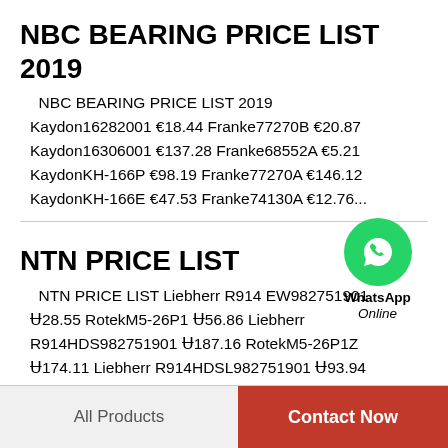NBC BEARING PRICE LIST 2019
NBC BEARING PRICE LIST 2019 Kaydon16282001 €18.44 Franke77270B €20.87 Kaydon16306001 €137.28 Franke68552A €5.21 KaydonKH-166P €98.19 Franke77270A €146.12 KaydonKH-166E €47.53 Franke74130A €12.76...
NTN PRICE LIST
[Figure (logo): WhatsApp green circle icon with phone handset symbol, labeled WhatsApp Online]
NTN PRICE LIST Liebherr R914 EW982751901 ￠28.55 RotekM5-26P1 ￠56.86 Liebherr R914HDS982751901 ￠187.16 RotekM5-26P1Z ￠174.11 Liebherr R914HDSL982751901 ￠93.94 RotekM4-26P4 ￠62.11 Liebherr R914STD982751901...
All Products    Contact Now